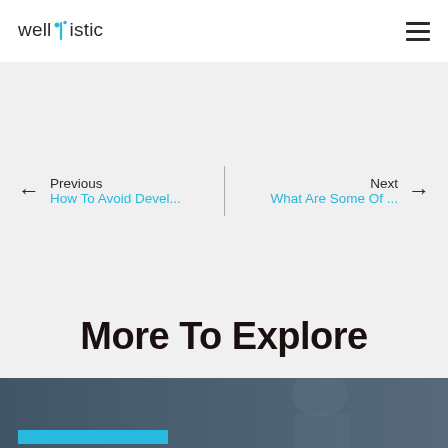wellistic
← Previous
How To Avoid Devel...
| Next →
What Are Some Of ...
More To Explore
[Figure (photo): Dark blue-tinted photo of a person with a cyan/blue bar overlay at the bottom left]